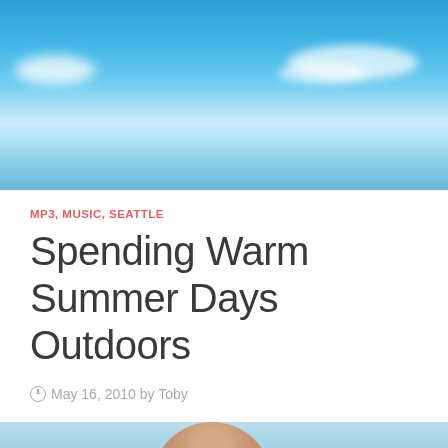[Figure (photo): Blue sky with white clouds, outdoor summer scene header photo]
MP3, MUSIC, SEATTLE
Spending Warm Summer Days Outdoors
May 16, 2010 by Toby
[Figure (photo): Partial photo of a person outdoors, bottom of page]